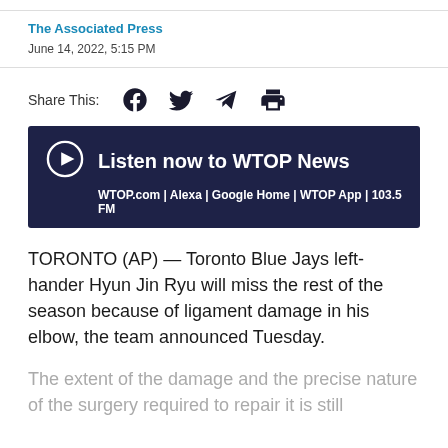The Associated Press
June 14, 2022, 5:15 PM
Share This:
[Figure (infographic): Listen now to WTOP News banner with play button icon. Subtitle: WTOP.com | Alexa | Google Home | WTOP App | 103.5 FM]
TORONTO (AP) — Toronto Blue Jays left-hander Hyun Jin Ryu will miss the rest of the season because of ligament damage in his elbow, the team announced Tuesday.
The extent of the damage and the precise nature of the surgery required to repair it is still